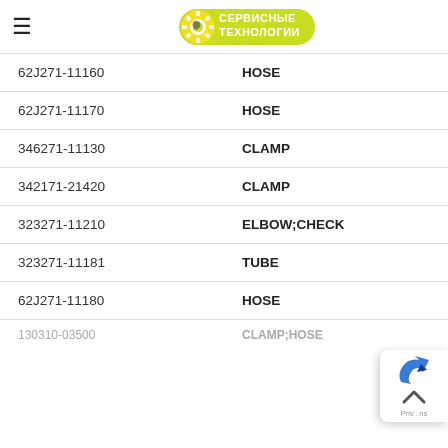Сервисные Технологии
| Part Number | Description |
| --- | --- |
| 62J271-11160 | HOSE |
| 62J271-11170 | HOSE |
| 346271-11130 | CLAMP |
| 342171-21420 | CLAMP |
| 323271-11210 | ELBOW;CHECK |
| 323271-11181 | TUBE |
| 62J271-11180 | HOSE |
| 130310-03500 | CLAMP;HOSE |